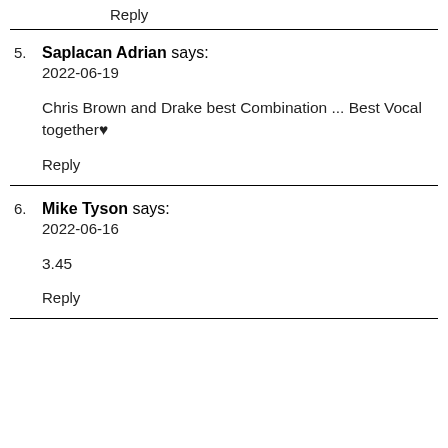Reply
5. Saplacan Adrian says:
2022-06-19

Chris Brown and Drake best Combination ... Best Vocal together♥

Reply
6. Mike Tyson says:
2022-06-16

3.45

Reply